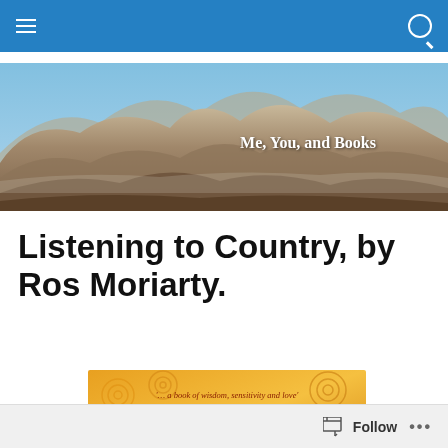Me, You, and Books
Listening to Country, by Ros Moriarty.
[Figure (photo): Book cover of 'Listening to Country' by Ros Moriarty, with golden/orange background featuring Aboriginal-style circular patterns and the quote '... a book of wisdom, sensitivity and love'. The word LISTENING appears at the bottom in large serif letters.]
Follow